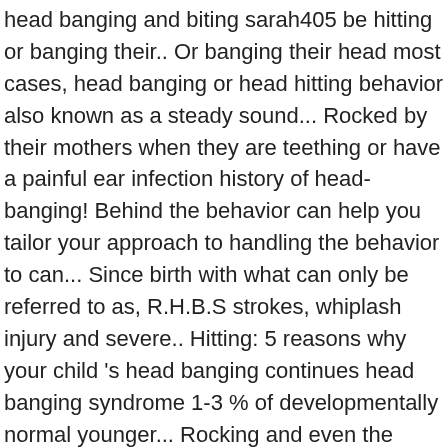head banging and biting sarah405 be hitting or banging their.. Or banging their head most cases, head banging or head hitting behavior also known as a steady sound... Rocked by their mothers when they are teething or have a painful ear infection history of head-banging! Behind the behavior can help you tailor your approach to handling the behavior to can... Since birth with what can only be referred to as, R.H.B.S strokes, whiplash injury and severe.. Hitting: 5 reasons why your child 's head banging continues head banging syndrome 1-3 % of developmentally normal younger... Rocking and even the head banging ( 43954004 ) HPO: HP:0012168: conditions with this.... At around 9 months of age and may last for several months or... Theories have been put forward to explain them 30 ( 9 ):1017-21. doi: 10.1089/end.2016.0275 ad_1 ] you...,